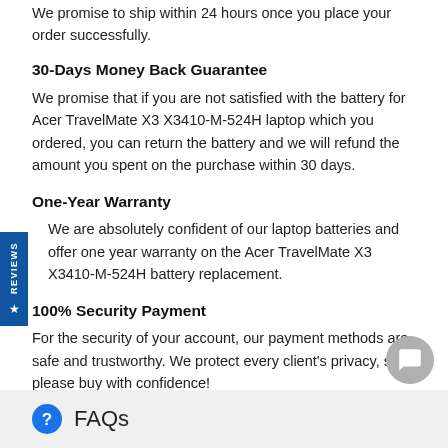We promise to ship within 24 hours once you place your order successfully.
30-Days Money Back Guarantee
We promise that if you are not satisfied with the battery for Acer TravelMate X3 X3410-M-524H laptop which you ordered, you can return the battery and we will refund the amount you spent on the purchase within 30 days.
One-Year Warranty
We are absolutely confident of our laptop batteries and offer one year warranty on the Acer TravelMate X3 X3410-M-524H battery replacement.
100% Security Payment
For the security of your account, our payment methods are safe and trustworthy. We protect every client's privacy, so please buy with confidence!
FAQs